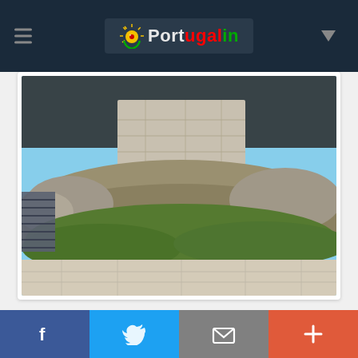[Figure (logo): Portugalin website logo with sun graphic, hamburger menu icon, and dropdown arrow on dark navy navbar]
[Figure (photo): Outdoor photograph of a stone monument or castle base on rocky terrain with grass, stone paving in foreground, blue sky background]
FOUNTAIN OF SANTO ANDRÉ
[Figure (other): Red icon box with house/home icon]
[Figure (other): Social media sharing bar with Facebook, Twitter, email/envelope, and plus buttons]